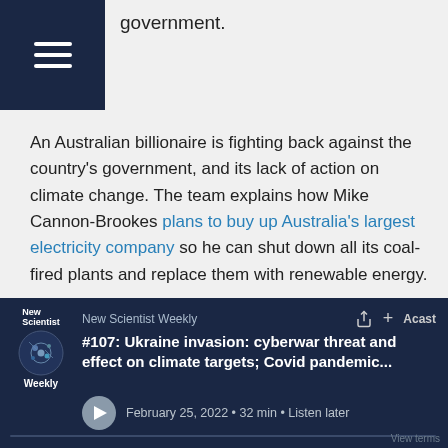government.
An Australian billionaire is fighting back against the country's government, and its lack of action on climate change. The team explains how Mike Cannon-Brookes plans to buy up Australia's largest electricity company so he can shut down all its coal-fired plants and replace them with renewable energy.
Researchers are beginning to better understand how humans experience different types of pain, which could lead to more effective...
#107: Ukraine invasion: cyberwar threat and effect on climate targets; Covid pandemic...
February 25, 2022 • 32 min • Listen later